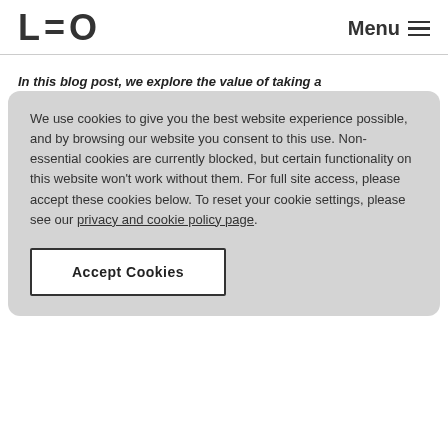LEO   Menu
In this blog post, we explore the value of taking a
We use cookies to give you the best website experience possible, and by browsing our website you consent to this use. Non-essential cookies are currently blocked, but certain functionality on this website won't work without them. For full site access, please accept these cookies below. To reset your cookie settings, please see our privacy and cookie policy page.
Accept Cookies
For compliance courses in particular, non-completion